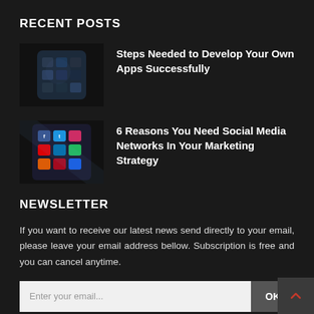RECENT POSTS
Steps Needed to Develop Your Own Apps Successfully
6 Reasons You Need Social Media Networks In Your Marketing Strategy
NEWSLETTER
If you want to receive our latest news send directly to your email, please leave your email address bellow. Subscription is free and you can cancel anytime.